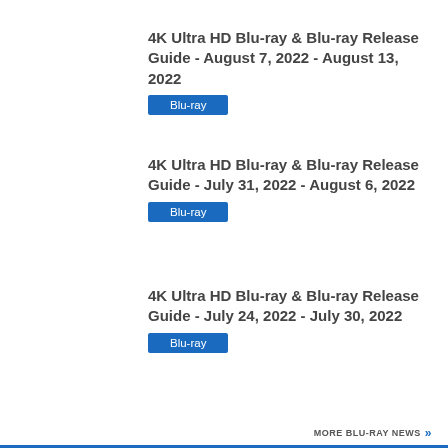4K Ultra HD Blu-ray & Blu-ray Release Guide - August 7, 2022 - August 13, 2022
Blu-ray
4K Ultra HD Blu-ray & Blu-ray Release Guide - July 31, 2022 - August 6, 2022
Blu-ray
4K Ultra HD Blu-ray & Blu-ray Release Guide - July 24, 2022 - July 30, 2022
Blu-ray
MORE BLU-RAY NEWS